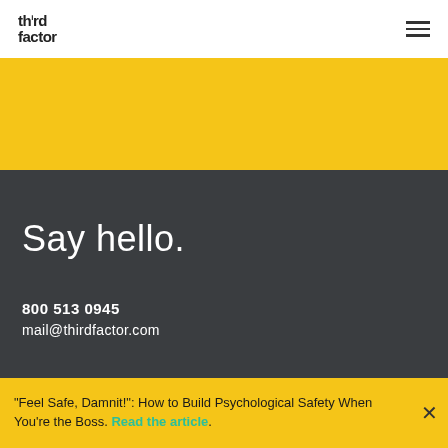third factor
Say hello.
800 513 0945
mail@thirdfactor.com
WHAT WE DO
WHO WE ARE
RESOURCES
"Feel Safe, Damnit!": How to Build Psychological Safety When You're the Boss. Read the article.